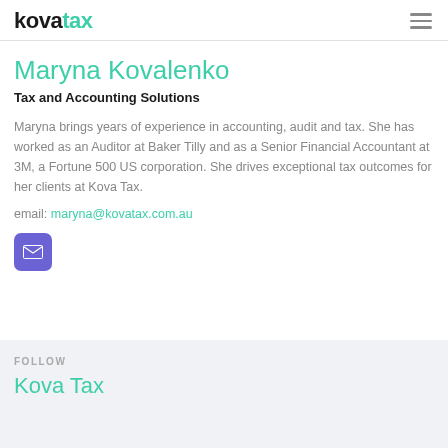kova tax
Maryna Kovalenko
Tax and Accounting Solutions
Maryna brings years of experience in accounting, audit and tax. She has worked as an Auditor at Baker Tilly and as a Senior Financial Accountant at 3M, a Fortune 500 US corporation. She drives exceptional tax outcomes for her clients at Kova Tax.
email: maryna@kovatax.com.au
[Figure (illustration): Purple rounded square button with white envelope/mail icon]
FOLLOW
Kova Tax